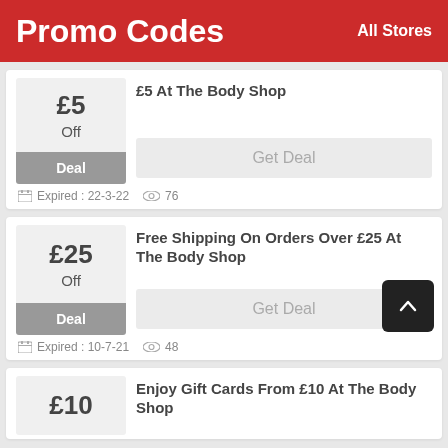Promo Codes   All Stores
£5 Off Deal — £5 At The Body Shop — Get Deal — Expired: 22-3-22 — 76 views
£25 Off Deal — Free Shipping On Orders Over £25 At The Body Shop — Get Deal — Expired: 10-7-21 — 48 views
£10 — Enjoy Gift Cards From £10 At The Body Shop